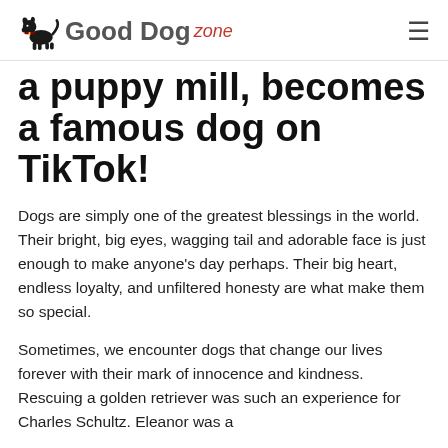Good Dog zone
a puppy mill, becomes a famous dog on TikTok!
Dogs are simply one of the greatest blessings in the world. Their bright, big eyes, wagging tail and adorable face is just enough to make anyone's day perhaps. Their big heart, endless loyalty, and unfiltered honesty are what make them so special.
Sometimes, we encounter dogs that change our lives forever with their mark of innocence and kindness. Rescuing a golden retriever was such an experience for Charles Schultz. Eleanor was a